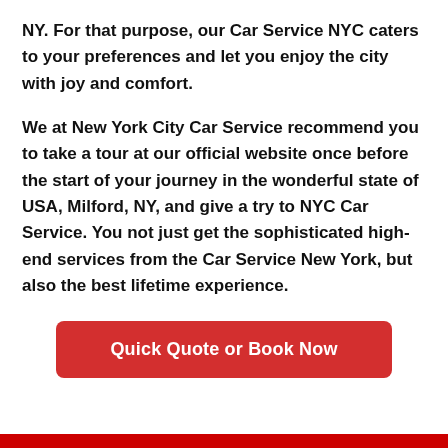NY. For that purpose, our Car Service NYC caters to your preferences and let you enjoy the city with joy and comfort.
We at New York City Car Service recommend you to take a tour at our official website once before the start of your journey in the wonderful state of USA, Milford, NY, and give a try to NYC Car Service. You not just get the sophisticated high-end services from the Car Service New York, but also the best lifetime experience.
Quick Quote or Book Now